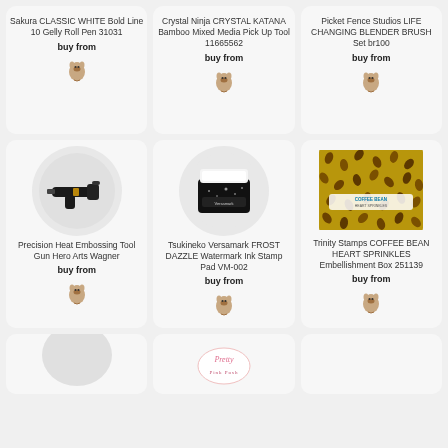Sakura CLASSIC WHITE Bold Line 10 Gelly Roll Pen 31031
buy from
[Figure (logo): French bulldog logo icon]
Crystal Ninja CRYSTAL KATANA Bamboo Mixed Media Pick Up Tool 11665562
buy from
[Figure (logo): French bulldog logo icon]
Picket Fence Studios LIFE CHANGING BLENDER BRUSH Set br100
buy from
[Figure (logo): French bulldog logo icon]
[Figure (photo): Precision heat embossing tool gun]
Precision Heat Embossing Tool Gun Hero Arts Wagner
buy from
[Figure (logo): French bulldog logo icon]
[Figure (photo): Tsukineko Versamark Frost Dazzle watermark ink stamp pad black sparkle]
Tsukineko Versamark FROST DAZZLE Watermark Ink Stamp Pad VM-002
buy from
[Figure (logo): French bulldog logo icon]
[Figure (photo): Coffee bean heart sprinkles embellishment box]
Trinity Stamps COFFEE BEAN HEART SPRINKLES Embellishment Box 251139
buy from
[Figure (logo): French bulldog logo icon]
[Figure (photo): Partial product card bottom row left - circular cropped]
[Figure (logo): Partial product card bottom row middle - Pretty logo]